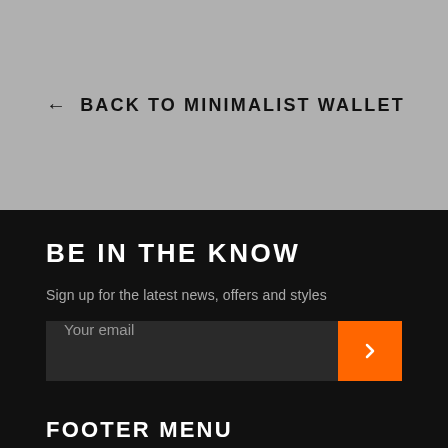← BACK TO MINIMALIST WALLET
BE IN THE KNOW
Sign up for the latest news, offers and styles
Your email
FOOTER MENU